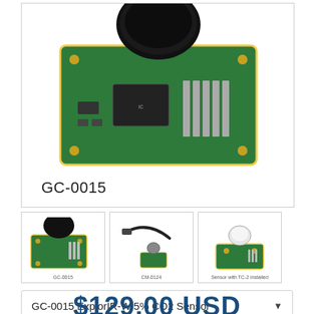[Figure (photo): Main product photo of GC-0015 ExplorIR-W CO2 sensor module — green PCB with black cylindrical sensor cap, microchip, and header pins. Label 'GC-0015' shown below the module.]
[Figure (photo): Thumbnail of GC-0015 sensor module, labeled 'GC-0015']
[Figure (photo): Thumbnail of CM-0124 sensor accessory with cable, labeled 'CM-0124']
[Figure (photo): Thumbnail of Sensor with TC-2 installed, labeled 'Sensor with TC-2 installed']
GC-0015 ExplorIR-W 5% CO2 Sensor
$129.00 USD